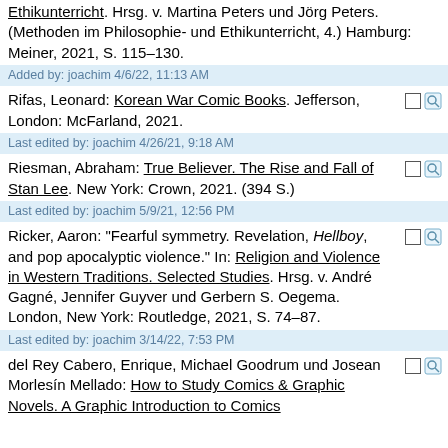Ethikunterricht. Hrsg. v. Martina Peters und Jörg Peters. (Methoden im Philosophie- und Ethikunterricht, 4.) Hamburg: Meiner, 2021, S. 115–130.
Added by: joachim 4/6/22, 11:13 AM
Rifas, Leonard: Korean War Comic Books. Jefferson, London: McFarland, 2021.
Last edited by: joachim 4/26/21, 9:18 AM
Riesman, Abraham: True Believer. The Rise and Fall of Stan Lee. New York: Crown, 2021. (394 S.)
Last edited by: joachim 5/9/21, 12:56 PM
Ricker, Aaron: "Fearful symmetry. Revelation, Hellboy, and pop apocalyptic violence." In: Religion and Violence in Western Traditions. Selected Studies. Hrsg. v. André Gagné, Jennifer Guyver und Gerbern S. Oegema. London, New York: Routledge, 2021, S. 74–87.
Last edited by: joachim 3/14/22, 7:53 PM
del Rey Cabero, Enrique, Michael Goodrum und Josean Morlesín Mellado: How to Study Comics & Graphic Novels. A Graphic Introduction to Comics